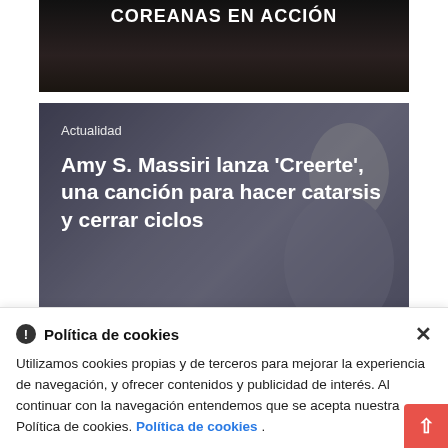[Figure (photo): Dark background image with bold white uppercase text 'COREANAS EN ACCIÓN' at top]
[Figure (photo): Article card with dark overlay photo background showing a person. Category label 'Actualidad' and bold white title 'Amy S. Massiri lanza Creerte, una canción para hacer catarsis y cerrar ciclos']
[Figure (photo): Partial third article card, dark background, partially visible]
Política de cookies
Utilizamos cookies propias y de terceros para mejorar la experiencia de navegación, y ofrecer contenidos y publicidad de interés. Al continuar con la navegación entendemos que se acepta nuestra Política de cookies. Política de cookies .